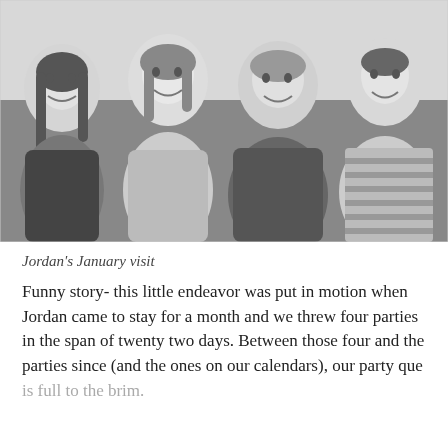[Figure (photo): Black and white photograph of four smiling women posed together closely, appearing to be outdoors.]
Jordan's January visit
Funny story- this little endeavor was put in motion when Jordan came to stay for a month and we threw four parties in the span of twenty two days. Between those four and the parties since (and the ones on our calendars), our party que is full to the brim.